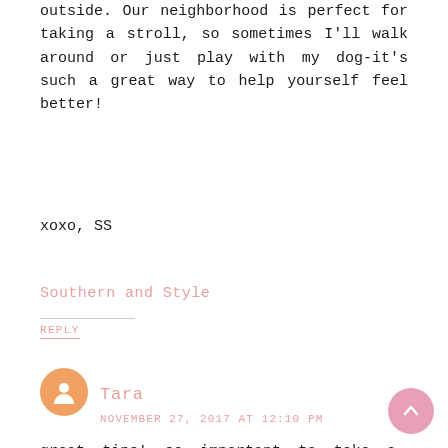outside. Our neighborhood is perfect for taking a stroll, so sometimes I'll walk around or just play with my dog-it's such a great way to help yourself feel better!
xoxo, SS
Southern and Style
REPLY
Tara
NOVEMBER 27, 2017 AT 12:10 PM
great tips! so important to take a moment to just breathe!